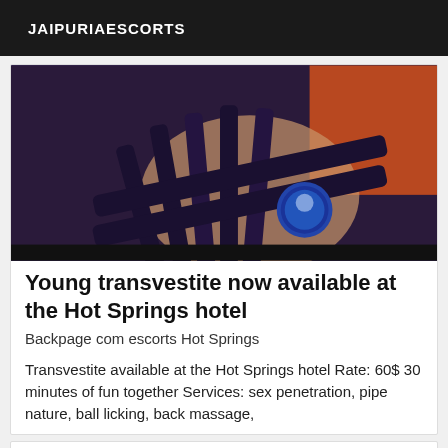JAIPURIAESCORTS
[Figure (photo): Close-up photo of a person's leg/shoe area with strappy dark footwear and a round decorative element, against a reddish background]
Young transvestite now available at the Hot Springs hotel
Backpage com escorts Hot Springs
Transvestite available at the Hot Springs hotel Rate: 60$ 30 minutes of fun together Services: sex penetration, pipe nature, ball licking, back massage,